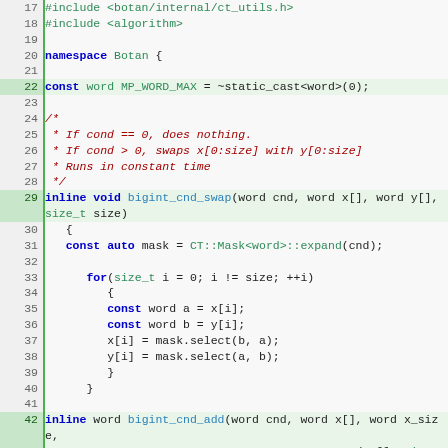[Figure (screenshot): C++ source code listing showing lines 17-45 of a Botan cryptographic library file, with syntax highlighting. Code includes includes, namespace, constant declaration, bigint_cnd_swap function, and beginning of bigint_cnd_add function.]